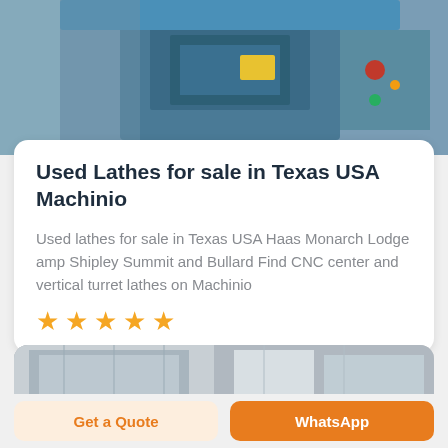[Figure (photo): Industrial lathe or CNC machine with blue frame, control panel with buttons visible, close-up shop floor photo]
Used Lathes for sale in Texas USA Machinio
Used lathes for sale in Texas USA Haas Monarch Lodge amp Shipley Summit and Bullard Find CNC center and vertical turret lathes on Machinio
★★★★★
[Figure (photo): Industrial machinery or building exterior, partial view at bottom of screen]
Get a Quote
WhatsApp